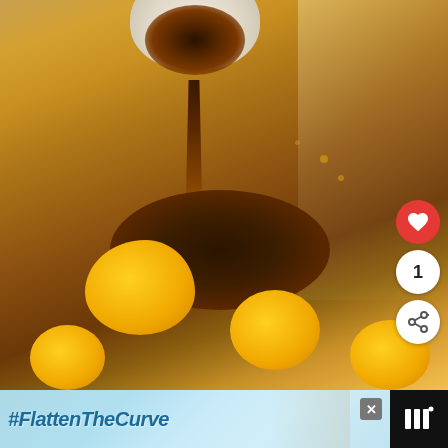[Figure (photo): Close-up photo of eggs being cracked into a stainless steel mixing bowl with a dark liquid (likely soy sauce or vanilla) being poured in. Multiple egg yolks visible at the bottom of the bowl. Shot from above at an angle.]
[Figure (infographic): Interactive UI overlay with a red heart/like button, a count showing '1', and a share button with plus icon, positioned on the right side of the photo.]
#FlattenTheCurve
[Figure (photo): Advertisement banner at the bottom showing #FlattenTheCurve text with a faucet/handwashing image, and a brand logo on the right.]